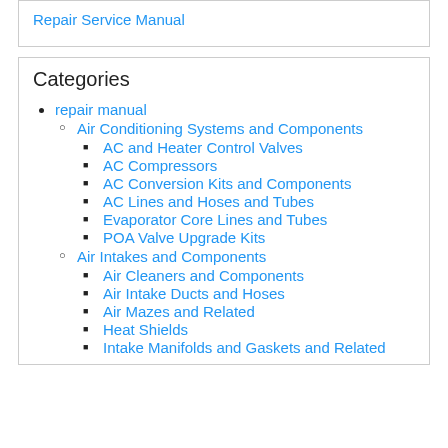Download Datsun B210 1974 Alternator Repair Service Manual
Categories
repair manual
Air Conditioning Systems and Components
AC and Heater Control Valves
AC Compressors
AC Conversion Kits and Components
AC Lines and Hoses and Tubes
Evaporator Core Lines and Tubes
POA Valve Upgrade Kits
Air Intakes and Components
Air Cleaners and Components
Air Intake Ducts and Hoses
Air Mazes and Related
Heat Shields
Intake Manifolds and Gaskets and Related